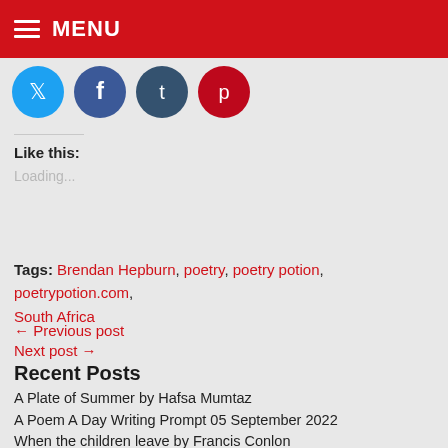MENU
[Figure (other): Social media share buttons: Twitter (blue circle), Facebook (blue circle), Tumblr (dark blue circle), Pinterest (red circle)]
Like this:
Loading...
Tags: Brendan Hepburn, poetry, poetry potion, poetrypotion.com, South Africa
← Previous post
Next post →
Recent Posts
A Plate of Summer by Hafsa Mumtaz
A Poem A Day Writing Prompt 05 September 2022
When the children leave by Francis Conlon